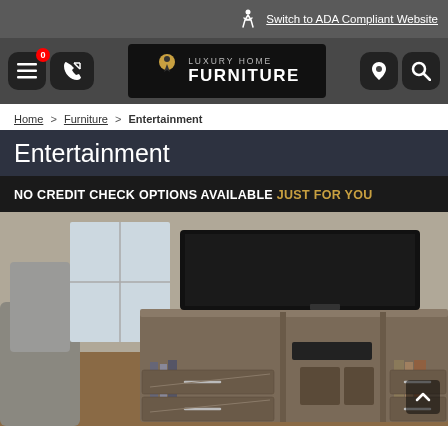Switch to ADA Compliant Website
[Figure (logo): Luxury Home Furniture logo with navigation icons including hamburger menu, phone, location pin, and search]
Home > Furniture > Entertainment
Entertainment
NO CREDIT CHECK OPTIONS AVAILABLE JUST FOR YOU
[Figure (photo): Entertainment center TV stand in brown wood finish with open shelves, drawers with chrome handles, a flat screen TV on top, and decorative baskets inside]